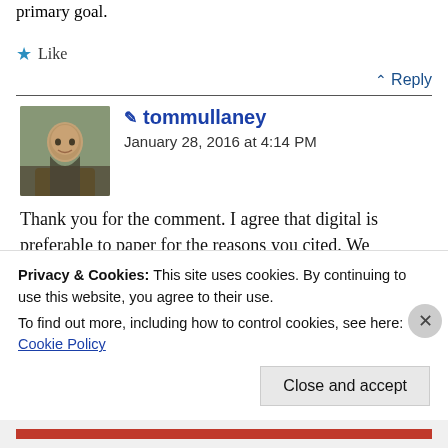Don't let the answers to the questions be his primary goal.
★ Like
^ Reply
✏ tommullaney
January 28, 2016 at 4:14 PM
Thank you for the comment. I agree that digital is preferable to paper for the reasons you cited. We disagree with the value of that
Privacy & Cookies: This site uses cookies. By continuing to use this website, you agree to their use.
To find out more, including how to control cookies, see here: Cookie Policy
Close and accept